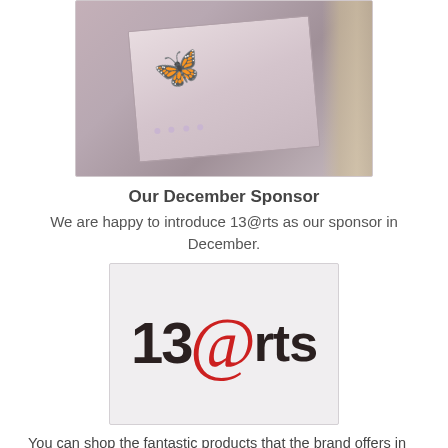[Figure (photo): Craft card with butterfly decoration, fibers, and gem embellishments on a lavender/pink background]
Our December Sponsor
We are happy to introduce 13@rts as our sponsor in December.
[Figure (logo): 13@rts logo — dark bold text '13' followed by a large red italic '@' symbol, followed by dark bold 'rts', on a light grey background]
You can shop the fantastic products that the brand offers in their online store. A click on the picture will take you directly there.